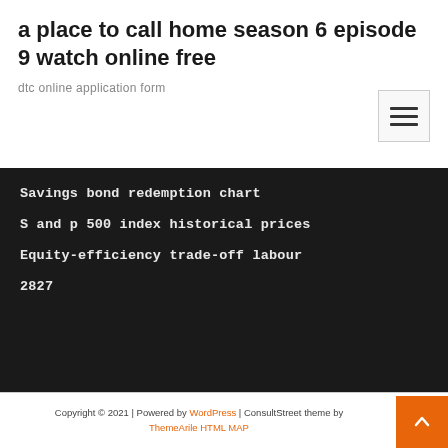a place to call home season 6 episode 9 watch online free
dtc online application form
Savings bond redemption chart
S and p 500 index historical prices
Equity-efficiency trade-off labour
2827
Copyright © 2021 | Powered by WordPress | ConsultStreet theme by ThemeArile HTML MAP